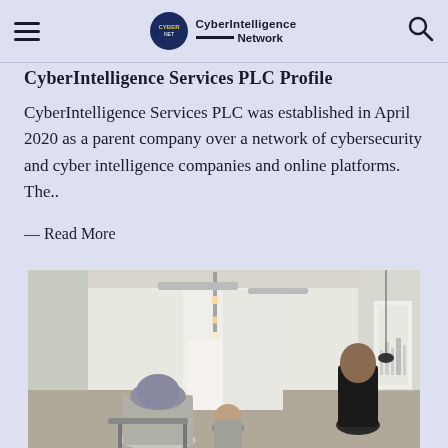CyberIntelligence Network
CyberIntelligence Services PLC Profile
CyberIntelligence Services PLC was established in April 2020 as a parent company over a network of cybersecurity and cyber intelligence companies and online platforms. The..
— Read More
[Figure (photo): Interior of a cafe or gallery space with white arched ceilings, track lighting, people sitting at tables, and artwork on the walls.]